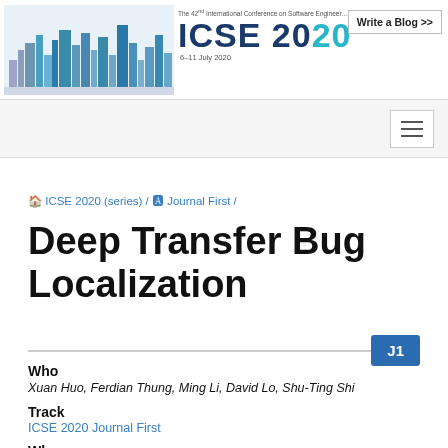The 42nd International Conference on Software Engineering · ICSE 2020 · 6–11 July 2020 · Write a Blog >>
[Figure (logo): ICSE 2020 conference header with city skyline illustration and logo]
ICSE 2020 (series) / Journal First /
Deep Transfer Bug Localization
J1
Who
Xuan Huo, Ferdian Thung, Ming Li, David Lo, Shu-Ting Shi
Track
ICSE 2020 Journal First
When